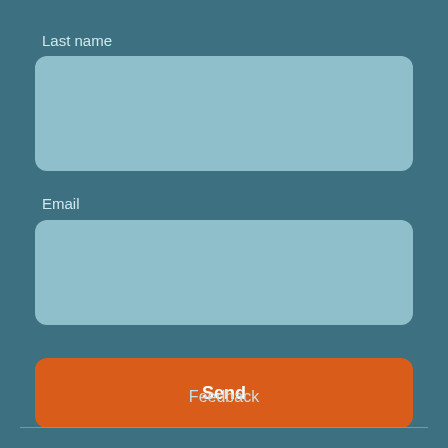Last name
[Figure (screenshot): Light blue rounded rectangle text input field for Last name]
Email
[Figure (screenshot): Light blue rounded rectangle text input field for Email]
[Figure (screenshot): Orange rounded rectangle Send button]
Feedback
[Figure (other): Thin horizontal divider line]